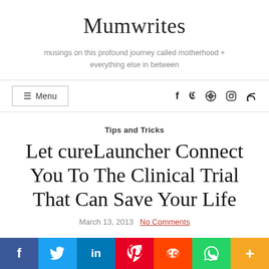Mumwrites
musings on this profound journey called motherhood + everything else in between
☰ Menu
f  ♥  ⊕  ◎  ⌁
Tips and Tricks
Let cureLauncher Connect You To The Clinical Trial That Can Save Your Life
March 13, 2013  No Comments
f  t  in  P  reddit  WhatsApp  +